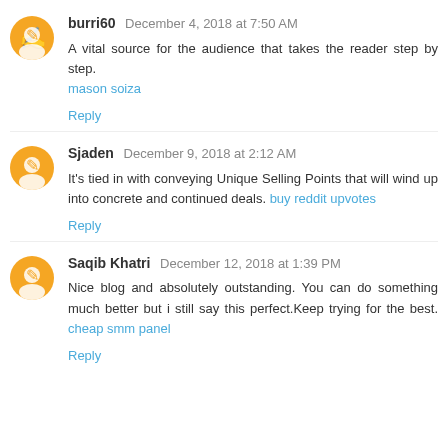burri60 December 4, 2018 at 7:50 AM
A vital source for the audience that takes the reader step by step.
mason soiza
Reply
Sjaden December 9, 2018 at 2:12 AM
It's tied in with conveying Unique Selling Points that will wind up into concrete and continued deals. buy reddit upvotes
Reply
Saqib Khatri December 12, 2018 at 1:39 PM
Nice blog and absolutely outstanding. You can do something much better but i still say this perfect.Keep trying for the best. cheap smm panel
Reply